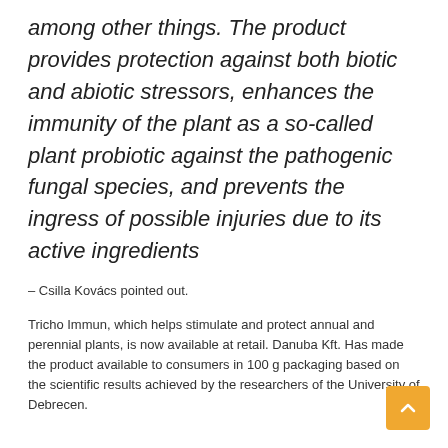among other things. The product provides protection against both biotic and abiotic stressors, enhances the immunity of the plant as a so-called plant probiotic against the pathogenic fungal species, and prevents the ingress of possible injuries due to its active ingredients
– Csilla Kovács pointed out.
Tricho Immun, which helps stimulate and protect annual and perennial plants, is now available at retail. Danuba Kft. Has made the product available to consumers in 100 g packaging based on the scientific results achieved by the researchers of the University of Debrecen.